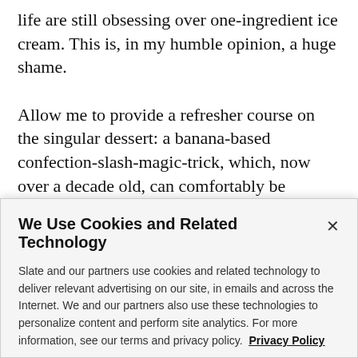life are still obsessing over one-ingredient ice cream. This is, in my humble opinion, a huge shame.
Allow me to provide a refresher course on the singular dessert: a banana-based confection-slash-magic-trick, which, now over a decade old, can comfortably be considered retro. It consists of blending frozen pieces of ripe bananas in a food processor for many, many minutes, until the chunks which at times seem obstinate…
We Use Cookies and Related Technology
Slate and our partners use cookies and related technology to deliver relevant advertising on our site, in emails and across the Internet. We and our partners also use these technologies to personalize content and perform site analytics. For more information, see our terms and privacy policy. Privacy Policy